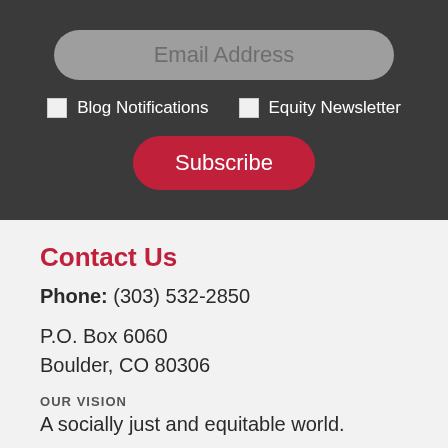[Figure (screenshot): Email subscription form with an email address input field (rounded gray pill shape), two checkboxes labeled 'Blog Notifications' and 'Equity Newsletter', and a red rounded Subscribe button, all on a dark gray background.]
Contact Us
Phone: (303) 532-2850
P.O. Box 6060
Boulder, CO 80306
OUR VISION
A socially just and equitable world.